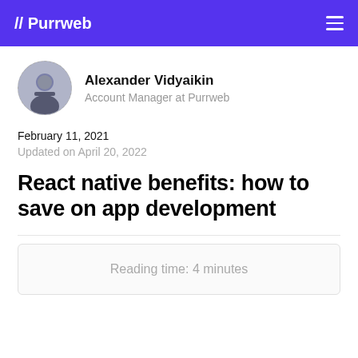// Purrweb
[Figure (photo): Circular avatar photo of Alexander Vidyalkin, a man with a beard, with dashed border]
Alexander Vidyaikin
Account Manager at Purrweb
February 11, 2021
Updated on April 20, 2022
React native benefits: how to save on app development
Reading time: 4 minutes